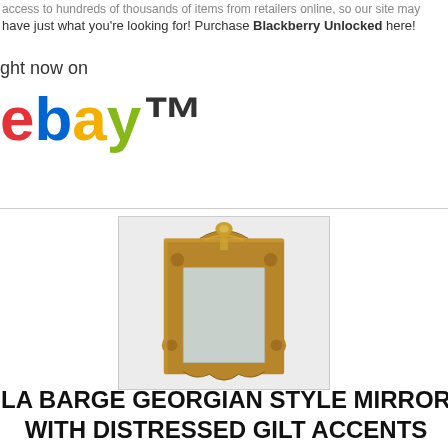access to hundreds of thousands of items from retailers online, so our site may have just what you're looking for! Purchase Blackberry Unlocked here!
ght now on
[Figure (logo): eBay logo with colored letters e (red), b (blue), a (yellow), y (green) and TM superscript]
[Figure (photo): A La Barge Georgian style ornate wall mirror with carved wooden frame featuring distressed gilt accents, scrollwork, and decorative crest at top. The mirror has a rectangular reflective surface with beveled edge.]
LA BARGE GEORGIAN STYLE MIRROR WITH DISTRESSED GILT ACCENTS